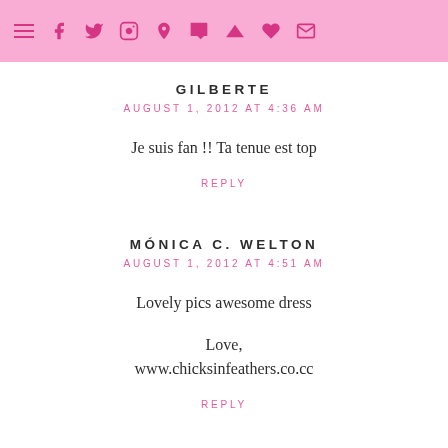≡ f t ☷ ℗ t ▶ ♥ ✉
GILBERTE
AUGUST 1, 2012 AT 4:36 AM
Je suis fan !! Ta tenue est top
REPLY
MÓNICA C. WELTON
AUGUST 1, 2012 AT 4:51 AM
Lovely pics awesome dress

Love,
www.chicksinfeathers.co.cc
REPLY